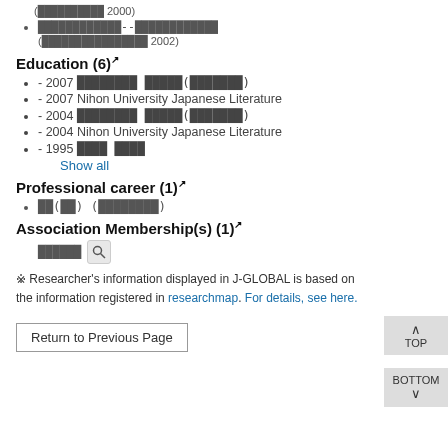(███████████ 2000)
████████████--████████████ (████████████████ 2002)
Education (6)↗
- 2007 ████████ █████(███████)
- 2007 Nihon University Japanese Literature
- 2004 ████████ █████(███████)
- 2004 Nihon University Japanese Literature
- 1995 ████ ████
Show all
Professional career (1)↗
██(██) (████████)
Association Membership(s) (1)↗
██████ [search icon]
※ Researcher's information displayed in J-GLOBAL is based on the information registered in researchmap. For details, see here.
Return to Previous Page